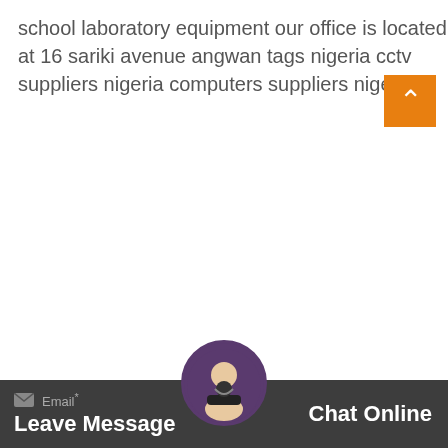school laboratory equipment our office is located at 16 sariki avenue angwan tags nigeria cctv suppliers nigeria computers suppliers nigeria.
What Can I Do For You?
[Figure (screenshot): Contact form widget with fields for Productname*, Your Name, and Email*, with a dark bottom bar showing Leave Message and Chat Online options and a circular avatar]
Leave Message
Chat Online